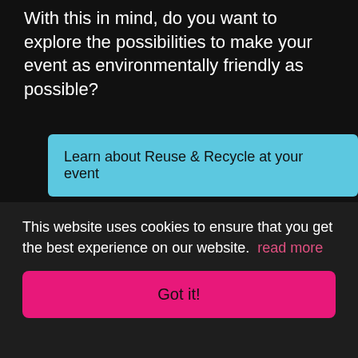With this in mind, do you want to explore the possibilities to make your event as environmentally friendly as possible?
Learn about Reuse & Recycle at your event
Our most recent projects
This website uses cookies to ensure that you get the best experience on our website. read more
Got it!